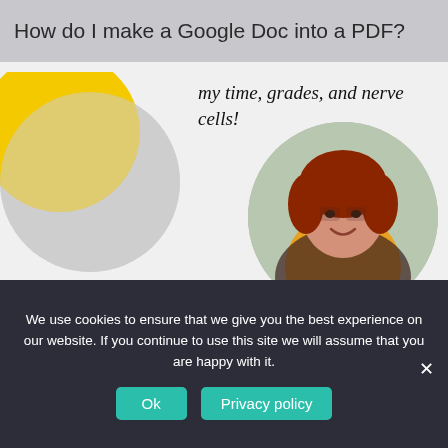How do I make a Google Doc into a PDF?
[Figure (illustration): Partial circular avatar with yellow and gray colors, cut off at top-left]
my time, grades, and nerve cells!
[Figure (photo): Circular photo of a woman with red/auburn hair wearing a yellow top, smiling outdoors]
Emma R.
★★★★★
[Figure (infographic): Yellow ORDER button]
We use cookies to ensure that we give you the best experience on our website. If you continue to use this site we will assume that you are happy with it.
Ok
Privacy policy